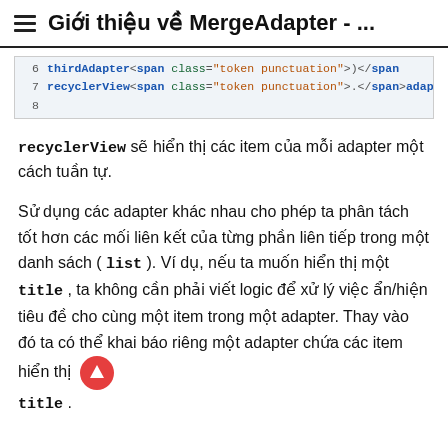≡  Giới thiệu về MergeAdapter - ...
[Figure (screenshot): Code snippet showing lines 6-8 with HTML/code content: line 6: thirdAdapter<span class="token punctuation">)</span>, line 7: recyclerView<span class="token punctuation">.</span>adap, line 8: (empty)]
recyclerView sẽ hiển thị các item của mỗi adapter một cách tuần tự.
Sử dụng các adapter khác nhau cho phép ta phân tách tốt hơn các mối liên kết của từng phần liên tiếp trong một danh sách ( list ). Ví dụ, nếu ta muốn hiển thị một title , ta không cần phải viết logic để xử lý việc ẩn/hiện tiêu đề cho cùng một item trong một adapter. Thay vào đó ta có thể khai báo riêng một adapter chứa các item hiển thị title .